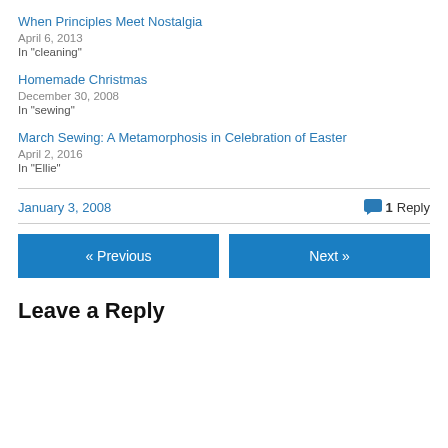When Principles Meet Nostalgia
April 6, 2013
In "cleaning"
Homemade Christmas
December 30, 2008
In "sewing"
March Sewing: A Metamorphosis in Celebration of Easter
April 2, 2016
In "Ellie"
January 3, 2008
1 Reply
« Previous
Next »
Leave a Reply